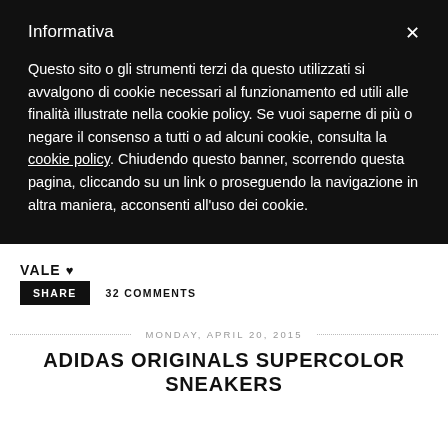Informativa
Questo sito o gli strumenti terzi da questo utilizzati si avvalgono di cookie necessari al funzionamento ed utili alle finalità illustrate nella cookie policy. Se vuoi saperne di più o negare il consenso a tutti o ad alcuni cookie, consulta la cookie policy. Chiudendo questo banner, scorrendo questa pagina, cliccando su un link o proseguendo la navigazione in altra maniera, acconsenti all'uso dei cookie.
VALE ♥
32 COMMENTS
SHARE
MONDAY, APRIL 20, 2015
ADIDAS ORIGINALS SUPERCOLOR SNEAKERS